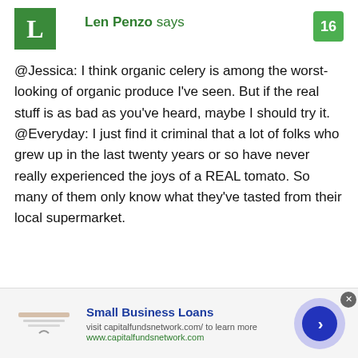[Figure (illustration): Green square avatar with white capital letter L]
Len Penzo says
16
@Jessica: I think organic celery is among the worst-looking of organic produce I've seen. But if the real stuff is as bad as you've heard, maybe I should try it. @Everyday: I just find it criminal that a lot of folks who grew up in the last twenty years or so have never really experienced the joys of a REAL tomato. So many of them only know what they've tasted from their local supermarket.
Small Business Loans
visit capitalfundsnetwork.com/ to learn more
www.capitalfundsnetwork.com